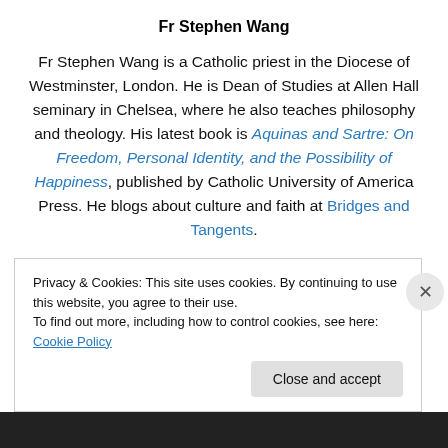Fr Stephen Wang
Fr Stephen Wang is a Catholic priest in the Diocese of Westminster, London. He is Dean of Studies at Allen Hall seminary in Chelsea, where he also teaches philosophy and theology. His latest book is Aquinas and Sartre: On Freedom, Personal Identity, and the Possibility of Happiness, published by Catholic University of America Press. He blogs about culture and faith at Bridges and Tangents.
Privacy & Cookies: This site uses cookies. By continuing to use this website, you agree to their use.
To find out more, including how to control cookies, see here: Cookie Policy
Close and accept